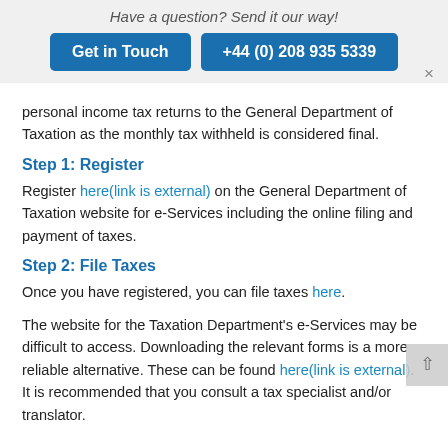Have a question? Send it our way!
Get in Touch   +44 (0) 208 935 5339
personal income tax returns to the General Department of Taxation as the monthly tax withheld is considered final.
Step 1: Register
Register here(link is external) on the General Department of Taxation website for e-Services including the online filing and payment of taxes.
Step 2: File Taxes
Once you have registered, you can file taxes here.
The website for the Taxation Department's e-Services may be difficult to access. Downloading the relevant forms is a more reliable alternative. These can be found here(link is external). It is recommended that you consult a tax specialist and/or translator.